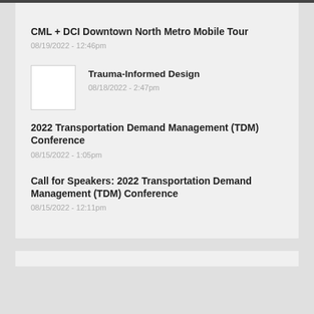CML + DCI Downtown North Metro Mobile Tour
08/19/2022 - 12:46pm
[Figure (photo): Thumbnail image placeholder for Trauma-Informed Design article]
Trauma-Informed Design
08/18/2022 - 2:47pm
2022 Transportation Demand Management (TDM) Conference
08/15/2022 - 1:05pm
Call for Speakers: 2022 Transportation Demand Management (TDM) Conference
08/15/2022 - 12:11pm